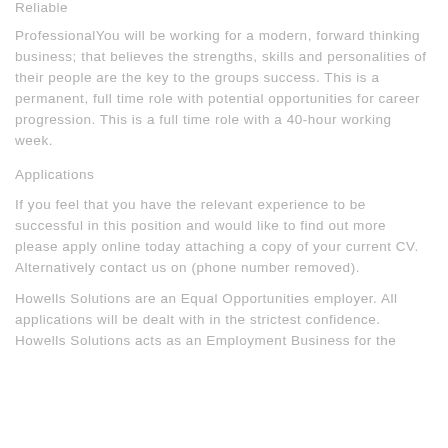Reliable
ProfessionalYou will be working for a modern, forward thinking business; that believes the strengths, skills and personalities of their people are the key to the groups success. This is a permanent, full time role with potential opportunities for career progression. This is a full time role with a 40-hour working week.
Applications
If you feel that you have the relevant experience to be successful in this position and would like to find out more please apply online today attaching a copy of your current CV. Alternatively contact us on (phone number removed).
Howells Solutions are an Equal Opportunities employer. All applications will be dealt with in the strictest confidence. Howells Solutions acts as an Employment Business for the